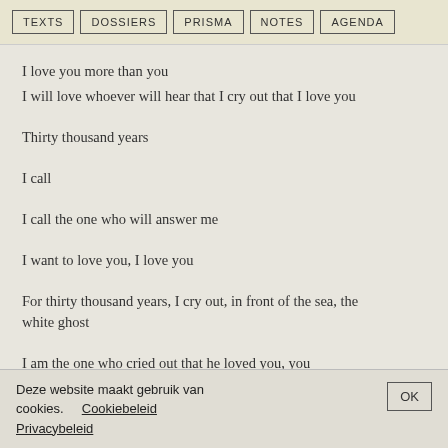TEXTS | DOSSIERS | PRISMA | NOTES | AGENDA
I love you more than you
I will love whoever will hear that I cry out that I love you
Thirty thousand years
I call
I call the one who will answer me
I want to love you, I love you
For thirty thousand years, I cry out, in front of the sea, the white ghost
I am the one who cried out that he loved you, you
Deze website maakt gebruik van cookies. Cookiebeleid Privacybeleid OK